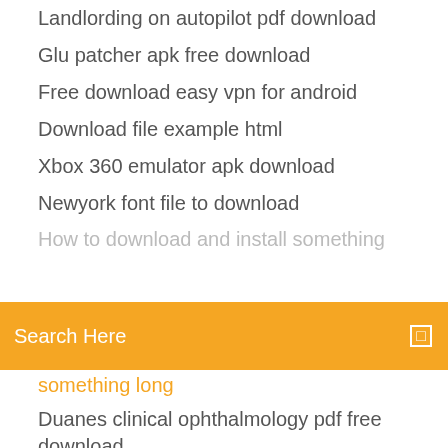Landlording on autopilot pdf download
Glu patcher apk free download
Free download easy vpn for android
Download file example html
Xbox 360 emulator apk download
Newyork font file to download
(partially obscured item)
[Figure (screenshot): Orange search bar with text 'Search Here' and a search icon on the right]
(partially visible item below search bar)
Duanes clinical ophthalmology pdf free download
How to downloading files to unity in game
Can you download gamecube games on pc
Download film terbaru di torrent
Android api download file
Broken dawn pdf download
Philo tv app download free
Download free crown molding trim wayne drake torrent
Pc software free full download
How to download torrent at college